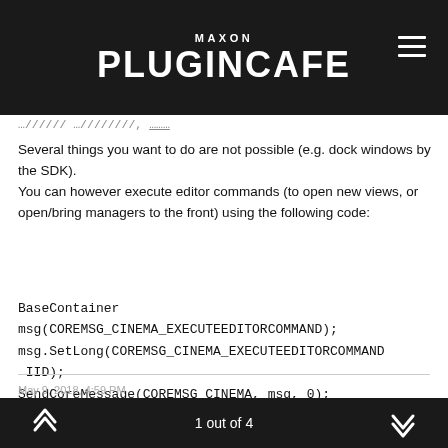MAXON PLUGINCAFE
Several things you want to do are not possible (e.g. dock windows by the SDK).
You can however execute editor commands (to open new views, or open/bring managers to the front) using the following code:
BaseContainer
msg(COREMSG_CINEMA_EXECUTEEDITORCOMMAND);
msg.SetLong(COREMSG_CINEMA_EXECUTEEDITORCOMMAND IID);
SendCoreMessage(COREMSG_CINEMA, msg, 0);
May 9, 2018, 4:59 PM
1 out of 4